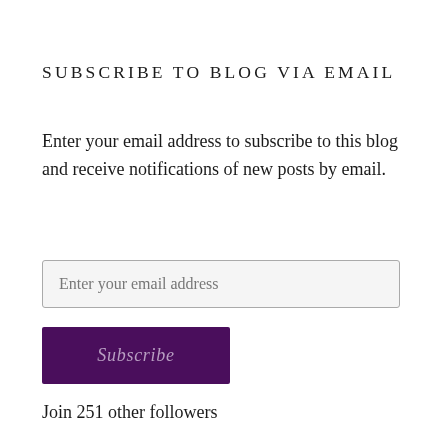SUBSCRIBE TO BLOG VIA EMAIL
Enter your email address to subscribe to this blog and receive notifications of new posts by email.
Enter your email address
Subscribe
Join 251 other followers